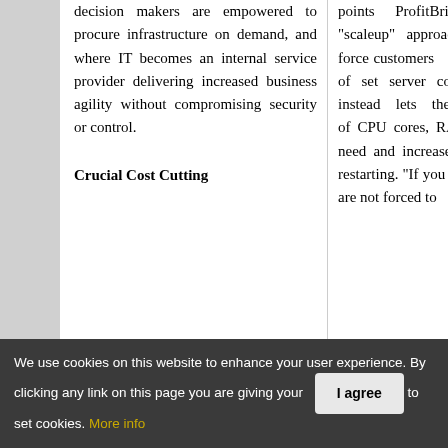decision makers are empowered to procure infrastructure on demand, and where IT becomes an internal service provider delivering increased business agility without compromising security or control.
Crucial Cost Cutting
points ProfitBricks also offers a "scaleup" approach, which does not force customers to pick from a menu of set server configurations, and instead lets them choose the amount of CPU cores, RAM and storage they need and increase the amount without restarting. "If you want more RAM, you are not forced to
We use cookies on this website to enhance your user experience. By clicking any link on this page you are giving your consent for us to set cookies. More info